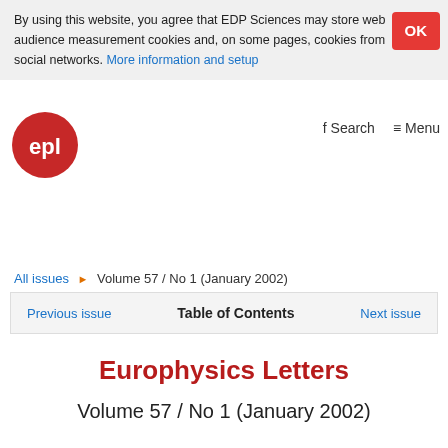By using this website, you agree that EDP Sciences may store web audience measurement cookies and, on some pages, cookies from social networks. More information and setup
[Figure (logo): EPL journal red circular logo with white 'epl' lettering]
fl Search   ☰ Menu
All issues ▶ Volume 57 / No 1 (January 2002)
Previous issue   Table of Contents   Next issue
Europhysics Letters
Volume 57 / No 1 (January 2002)